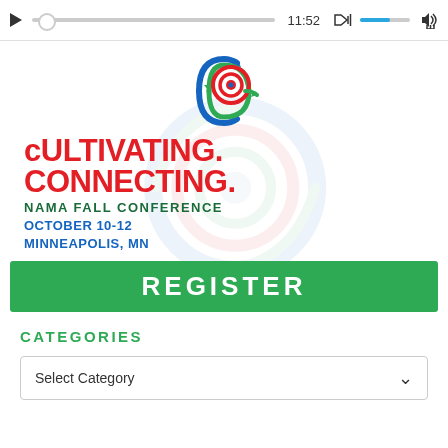[Figure (screenshot): Media player control bar with play button, progress slider, time 11:52, volume icon, volume slider, and download icon]
[Figure (logo): NAMA Fall Conference logo with circular arrow graphic in blue, green and red. Text reads: CULTIVATING. CONNECTING. NAMA FALL CONFERENCE OCTOBER 10-12 MINNEAPOLIS, MN with a green REGISTER button]
CATEGORIES
Select Category